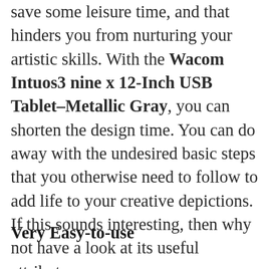save some leisure time, and that hinders you from nurturing your artistic skills. With the Wacom Intuos3 nine x 12-Inch USB Tablet–Metallic Gray, you can shorten the design time. You can do away with the undesired basic steps that you otherwise need to follow to add life to your creative depictions. If this sounds interesting, then why not have a look at its useful attributes.
Very Easy-to-use